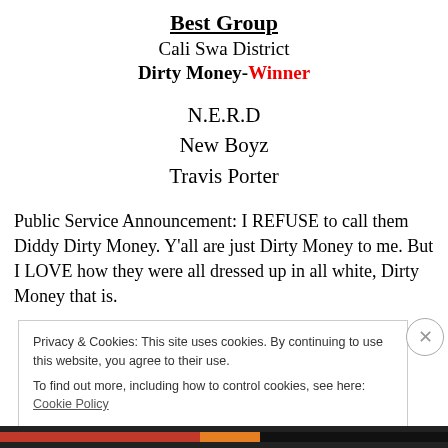Best Group
Cali Swa District
Dirty Money-Winner
N.E.R.D
New Boyz
Travis Porter
Public Service Announcement: I REFUSE to call them Diddy Dirty Money. Y'all are just Dirty Money to me. But I LOVE how they were all dressed up in all white, Dirty Money that is.
Privacy & Cookies: This site uses cookies. By continuing to use this website, you agree to their use.
To find out more, including how to control cookies, see here: Cookie Policy